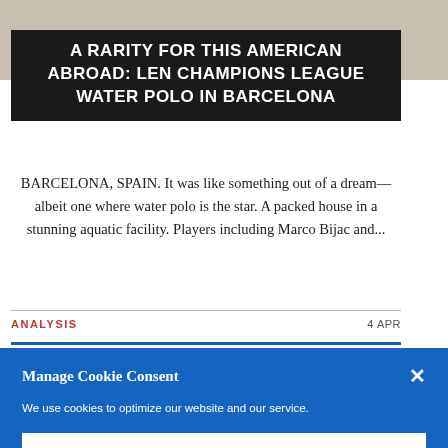[Figure (photo): Partial view of an outdoor or indoor public space, likely a sports or aquatic venue, with people visible in the background. Background appears light beige/tan.]
A RARITY FOR THIS AMERICAN ABROAD: LEN CHAMPIONS LEAGUE WATER POLO IN BARCELONA
BARCELONA, SPAIN. It was like something out of a dream—albeit one where water polo is the star. A packed house in a stunning aquatic facility. Players including Marco Bijac and...
ANALYSIS	4 APR
Manage Cookie Consent
We use cookies to optimize our website and our service.
Accept